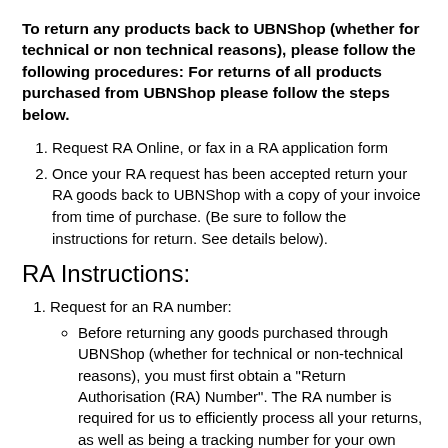To return any products back to UBNShop (whether for technical or non technical reasons), please follow the following procedures: For returns of all products purchased from UBNShop please follow the steps below.
Request RA Online, or fax in a RA application form
Once your RA request has been accepted return your RA goods back to UBNShop with a copy of your invoice from time of purchase. (Be sure to follow the instructions for return. See details below).
RA Instructions:
Request for an RA number:
Before returning any goods purchased through UBNShop (whether for technical or non-technical reasons), you must first obtain a "Return Authorisation (RA) Number". The RA number is required for us to efficiently process all your returns, as well as being a tracking number for your own reference. Without the RA number, UBNShop will not process any goods returned to us and is our right to return the goods back to the owner at the owner's expense.